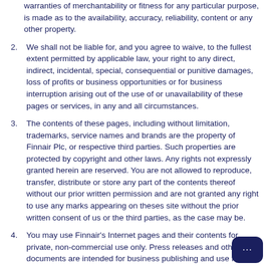warranties of merchantability or fitness for any particular purpose, is made as to the availability, accuracy, reliability, content or any other property.
2. We shall not be liable for, and you agree to waive, to the fullest extent permitted by applicable law, your right to any direct, indirect, incidental, special, consequential or punitive damages, loss of profits or business opportunities or for business interruption arising out of the use of or unavailability of these pages or services, in any and all circumstances.
3. The contents of these pages, including without limitation, trademarks, service names and brands are the property of Finnair Plc, or respective third parties. Such properties are protected by copyright and other laws. Any rights not expressly granted herein are reserved. You are not allowed to reproduce, transfer, distribute or store any part of the contents thereof without our prior written permission and are not granted any right to use any marks appearing on theses site without the prior written consent of us or the third parties, as the case may be.
4. You may use Finnair's Internet pages and their contents for private, non-commercial use only. Press releases and other documents are intended for business publishing and use for all